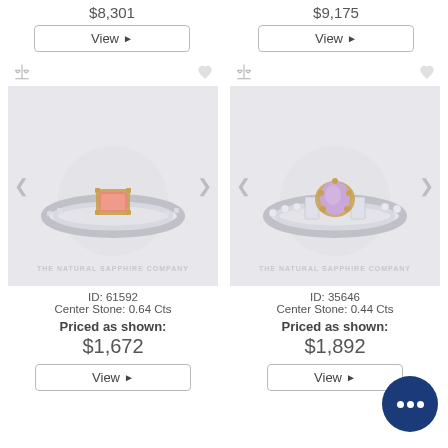$8,301
$9,175
View
View
[Figure (photo): Ring with pink/salmon emerald-cut sapphire in yellow gold setting on silver band, product ID 61592]
ID: 61592
Center Stone: 0.64 Cts
Priced as shown:
$1,672
View
[Figure (photo): Ring with lavender/purple pear-cut sapphire in yellow gold setting with diamond accent stones on silver band, product ID 35646]
ID: 35646
Center Stone: 0.44 Cts
Priced as shown:
$1,892
View